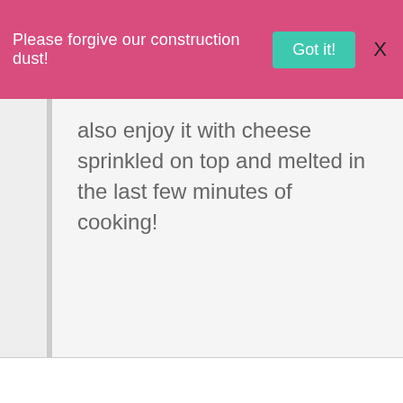Please forgive our construction dust!   Got it!   X
also enjoy it with cheese sprinkled on top and melted in the last few minutes of cooking!